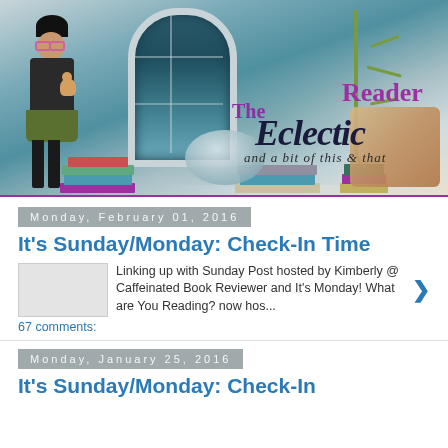[Figure (illustration): The Eclectic Reader blog banner with illustrated girl, arched window, books, and decorative text reading 'The Eclectic Reader and a bit of this & that']
Monday, February 01, 2016
It's Sunday/Monday: Check-In Time
Linking up with Sunday Post hosted by  Kimberly @  Caffeinated Book Reviewer   and It's Monday! What are You Reading? now hos...
67 comments:
Monday, January 25, 2016
It's Sunday/Monday: Check-In